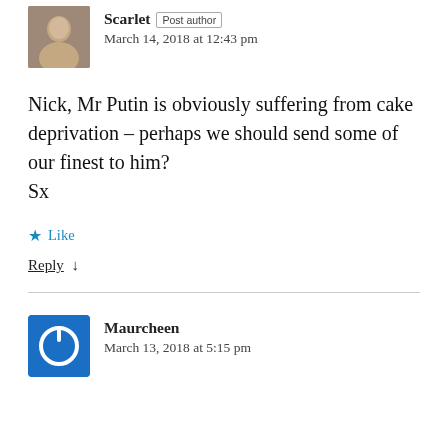[Figure (photo): Small grayscale portrait photo of Scarlet (post author)]
Scarlet Post author
March 14, 2018 at 12:43 pm
Nick, Mr Putin is obviously suffering from cake deprivation – perhaps we should send some of our finest to him?
Sx
★ Like
Reply ↓
[Figure (logo): Blue square avatar with white power button icon for Maurcheen]
Maurcheen
March 13, 2018 at 5:15 pm